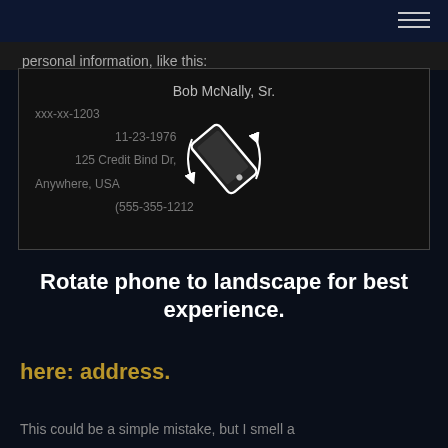personal information, like this:
[Figure (screenshot): Dark card showing personal info: Bob McNally, Sr., xxx-xx-1203, 11-23-1976, 125 Credit Bind Dr, Anywhere, USA, (555-355-1212), with a rotate phone icon overlay]
Rotate phone to landscape for best experience.
here: address.
This could be a simple mistake, but I smell a